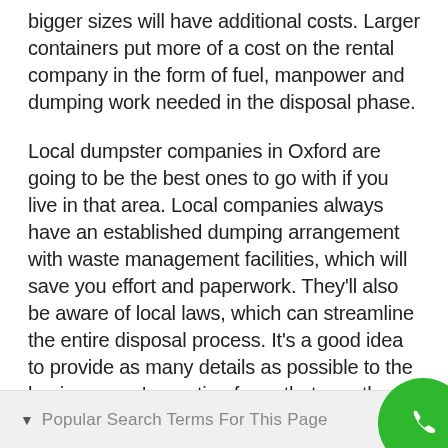bigger sizes will have additional costs. Larger containers put more of a cost on the rental company in the form of fuel, manpower and dumping work needed in the disposal phase.
Local dumpster companies in Oxford are going to be the best ones to go with if you live in that area. Local companies always have an established dumping arrangement with waste management facilities, which will save you effort and paperwork. They'll also be aware of local laws, which can streamline the entire disposal process. It's a good idea to provide as many details as possible to the business you're renting from, that way they can make sure you have the ideal dumpster to suit your needs.
Popular Search Terms For This Page